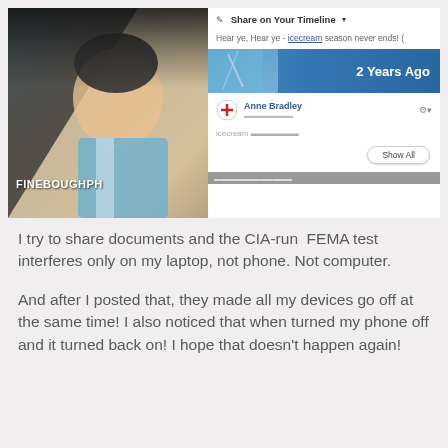[Figure (screenshot): Screenshot of a Facebook 'On This Day' feature showing a profile photo on the left, a '2 Years Ago' banner, Anne Bradley's profile row with a red plus circle icon, an icecream-related tagline, and a 'Show All' button on the right side.]
I try to share documents and the CIA-run  FEMA test interferes only on my laptop, not phone. Not computer.
And after I posted that, they made all my devices go off at the same time! I also noticed that when turned my phone off and it turned back on! I hope that doesn't happen again!